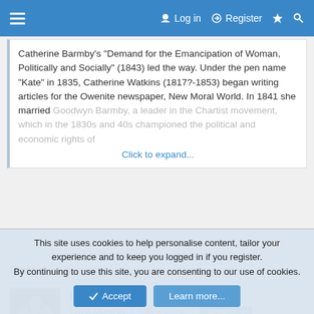☰  Log in   Register  ⚡  🔍
Catherine Barmby's "Demand for the Emancipation of Woman, Politically and Socially" (1843) led the way. Under the pen name "Kate" in 1835, Catherine Watkins (1817?-1853) began writing articles for the Owenite newspaper, New Moral World. In 1841 she married Goodwyn Barmby, a leader in the Chartist movement, which in the 1830s and 40s championed the political and economic rights of... Click to expand...
Dave
[Figure (photo): User avatar for juliejtp, showing a group historical photo in grayscale]
juliejtp
Loyal Member  Staff member  Moderator
21 January 2018
#5
John Biggin who died in 1917 was the Managing Director of Ash S... and Dir...
This site uses cookies to help personalise content, tailor your experience and to keep you logged in if you register.
By continuing to use this site, you are consenting to our use of cookies.